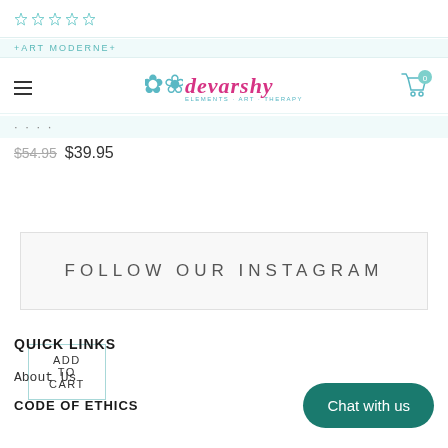[Figure (other): Five empty star rating icons in teal/outline style]
+ART MODERNE+
[Figure (logo): Devarshy brand logo with decorative teal icon and pink cursive text, subtitle text below]
[Figure (other): Shopping bag icon with 0 badge]
...
$54.95 $39.95
ADD TO CART
FOLLOW OUR INSTAGRAM
QUICK LINKS
About Us
CODE OF ETHICS
Chat with us